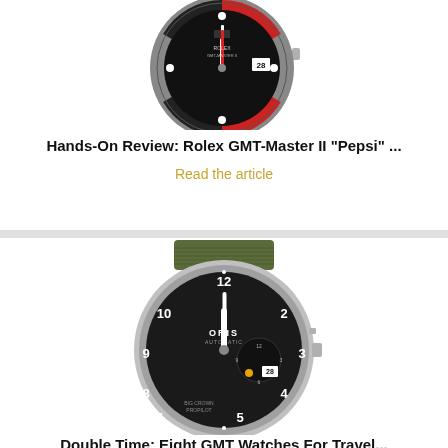[Figure (photo): Close-up photo of a Rolex GMT-Master II Pepsi watch with black and red bezel, showing the dial with date window]
Hands-On Review: Rolex GMT-Master II “Pepsi” ...
Read the article
[Figure (photo): Photo of an Oris Big Crown ProPilot watch with black dial, white numerals, green NATO strap, and additional sub-dials]
Double Time: Eight GMT Watches For Travel...